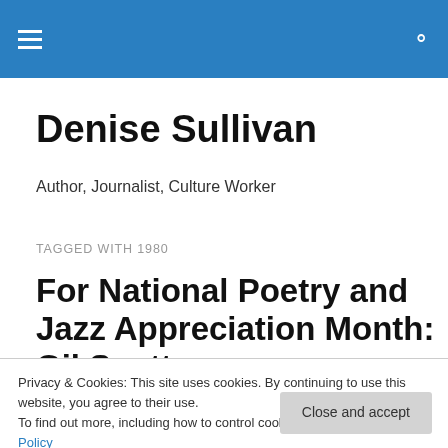Denise Sullivan — site navigation header with hamburger menu and search icon
Denise Sullivan
Author, Journalist, Culture Worker
TAGGED WITH 1980
For National Poetry and Jazz Appreciation Month: Gil Scott-
Privacy & Cookies: This site uses cookies. By continuing to use this website, you agree to their use.
To find out more, including how to control cookies, see here: Cookie Policy
Close and accept